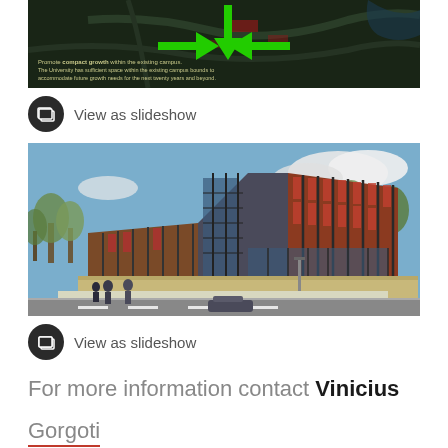[Figure (photo): Aerial campus map with green arrow overlays indicating compact growth direction. Text overlay reads: 'Promote compact growth within the existing campus. The University has sufficient space within the existing campus bounds to accommodate future growth needs for the next twenty years and beyond.']
View as slideshow
[Figure (photo): Architectural rendering of a modern university building with red brick and glass facade, multiple stories, people walking on the street in front, trees in background with blue sky.]
View as slideshow
For more information contact Vinicius Gorgoti